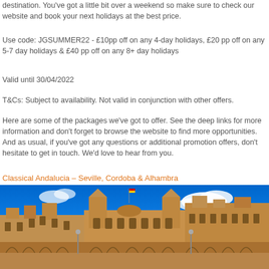destination. You've got a little bit over a weekend so make sure to check our website and book your next holidays at the best price.
Use code: JGSUMMER22 - £10pp off on any 4-day holidays, £20 pp off on any 5-7 day holidays & £40 pp off on any 8+ day holidays
Valid until 30/04/2022
T&Cs: Subject to availability. Not valid in conjunction with other offers.
Here are some of the packages we've got to offer. See the deep links for more information and don't forget to browse the website to find more opportunities. And as usual, if you've got any questions or additional promotion offers, don't hesitate to get in touch. We'd love to hear from you.
Classical Andalucia – Seville, Cordoba & Alhambra
[Figure (photo): Photo of a large ornate Spanish plaza building (Plaza de España, Seville) with blue sky and clouds in the background]